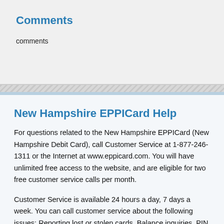Comments
comments
New Hampshire EPPICard Help
For questions related to the New Hampshire EPPICard (New Hampshire Debit Card), call Customer Service at 1-877-246-1311 or the Internet at www.eppicard.com. You will have unlimited free access to the website, and are eligible for two free customer service calls per month.
Customer Service is available 24 hours a day, 7 days a week. You can call customer service about the following issues: Reporting lost or stolen cards, Balance inquiries, PIN changes, Transaction history requests, Registering a complaint about a card issue